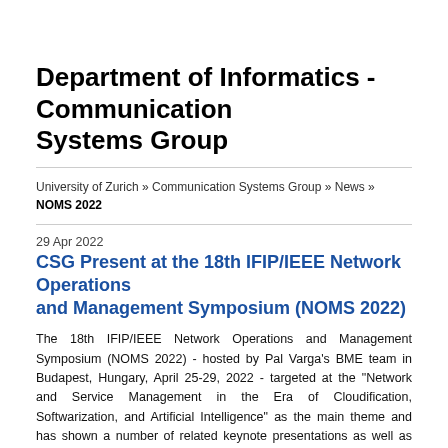Department of Informatics - Communication Systems Group
University of Zurich » Communication Systems Group » News » NOMS 2022
29 Apr 2022
CSG Present at the 18th IFIP/IEEE Network Operations and Management Symposium (NOMS 2022)
The 18th IFIP/IEEE Network Operations and Management Symposium (NOMS 2022) - hosted by Pal Varga's BME team in Budapest, Hungary, April 25-29, 2022 - targeted at the "Network and Service Management in the Era of Cloudification, Softwarization, and Artificial Intelligence" as the main theme and has shown a number of related keynote presentations as well as technical paper, mini-conference, demo, dissertation digest, experience, short paper sessions, and panels.